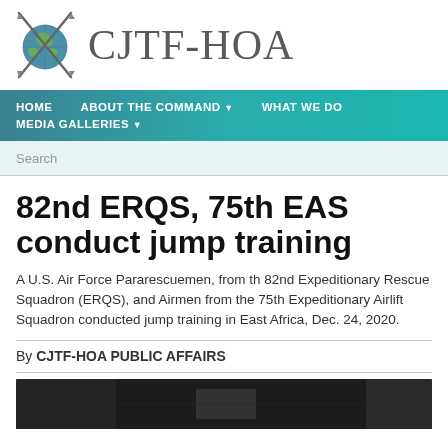[Figure (logo): CJTF-HOA logo: globe with crossed spears/swords, site title CJTF-HOA]
HOME   ABOUT THE COMMAND ▼   WHAT WE DO   MEDIA GALLERIES ▼
Search
82nd ERQS, 75th EAS conduct jump training
A U.S. Air Force Pararescuemen, from th 82nd Expeditionary Rescue Squadron (ERQS), and Airmen from the 75th Expeditionary Airlift Squadron conducted jump training in East Africa, Dec. 24, 2020.
By CJTF-HOA PUBLIC AFFAIRS
[Figure (photo): Partial photo strip showing dark/black and white image at bottom of page]